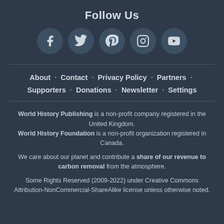Follow Us
[Figure (illustration): Five social media icons in circular buttons: Facebook, Twitter, Pinterest, Instagram, YouTube]
About · Contact · Privacy Policy · Partners · Supporters · Donations · Newsletter · Settings
World History Publishing is a non-profit company registered in the United Kingdom. World History Foundation is a non-profit organization registered in Canada. We care about our planet and contribute a share of our revenue to carbon removal from the atmosphere. Some Rights Reserved (2009-2022) under Creative Commons Attribution-NonCommercial-ShareAlike license unless otherwise noted.